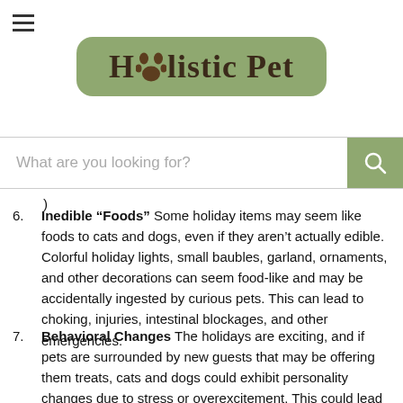Holistic Pet
What are you looking for?
6. Inedible “Foods” Some holiday items may seem like foods to cats and dogs, even if they aren’t actually edible. Colorful holiday lights, small baubles, garland, ornaments, and other decorations can seem food-like and may be accidentally ingested by curious pets. This can lead to choking, injuries, intestinal blockages, and other emergencies.
7. Behavioral Changes The holidays are exciting, and if pets are surrounded by new guests that may be offering them treats, cats and dogs could exhibit personality changes due to stress or overexcitement. This could lead to food-related begging behavior or feeding aggression, traits that can take